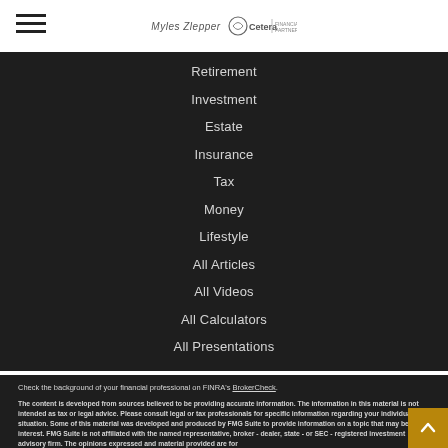Myles Zlepper | Cetera Financial Partners
Retirement
Investment
Estate
Insurance
Tax
Money
Lifestyle
All Articles
All Videos
All Calculators
All Presentations
Check the background of your financial professional on FINRA's BrokerCheck.
The content is developed from sources believed to be providing accurate information. The information in this material is not intended as tax or legal advice. Please consult legal or tax professionals for specific information regarding your individual situation. Some of this material was developed and produced by FMG Suite to provide information on a topic that may be of interest. FMG Suite is not affiliated with the named representative, broker - dealer, state - or SEC - registered investment advisory firm. The opinions expressed and material provided are for